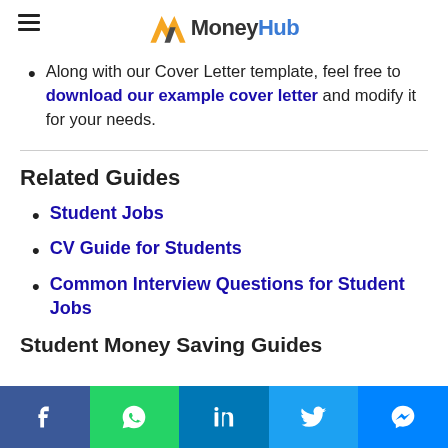MoneyHub
Along with our Cover Letter template, feel free to download our example cover letter and modify it for your needs.
Related Guides
Student Jobs
CV Guide for Students
Common Interview Questions for Student Jobs
Student Money Saving Guides
Social share bar: Facebook, WhatsApp, LinkedIn, Twitter, Messenger